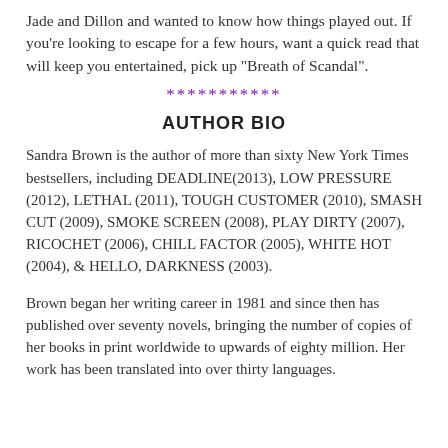Jade and Dillon and wanted to know how things played out. If you're looking to escape for a few hours, want a quick read that will keep you entertained, pick up "Breath of Scandal".
***********
AUTHOR BIO
Sandra Brown is the author of more than sixty New York Times bestsellers, including DEADLINE(2013), LOW PRESSURE (2012), LETHAL (2011), TOUGH CUSTOMER (2010), SMASH CUT (2009), SMOKE SCREEN (2008), PLAY DIRTY (2007), RICOCHET (2006), CHILL FACTOR (2005), WHITE HOT (2004), & HELLO, DARKNESS (2003).
Brown began her writing career in 1981 and since then has published over seventy novels, bringing the number of copies of her books in print worldwide to upwards of eighty million. Her work has been translated into over thirty languages.